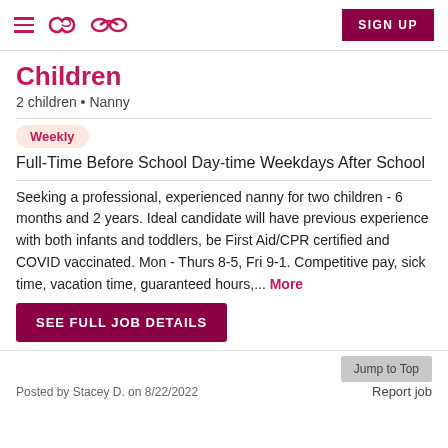Care.com — SIGN UP
Children
2 children • Nanny
Weekly
Full-Time Before School Day-time Weekdays After School
Seeking a professional, experienced nanny for two children - 6 months and 2 years. Ideal candidate will have previous experience with both infants and toddlers, be First Aid/CPR certified and COVID vaccinated. Mon - Thurs 8-5, Fri 9-1. Competitive pay, sick time, vacation time, guaranteed hours,... More
SEE FULL JOB DETAILS
Posted by Stacey D. on 8/22/2022    Jump to Top    Report job